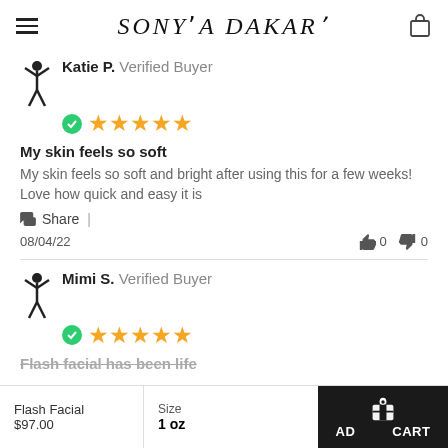SONYA DAKAR
Katie P. Verified Buyer — 5 stars
My skin feels so soft
My skin feels so soft and bright after using this for a few weeks! Love how quick and easy it is
Share |
08/04/22   👍 0   👎 0
Mimi S. Verified Buyer — 5 stars
Flash facial has been life
Flash Facial $97.00 | Size 1 oz | ADD TO CART